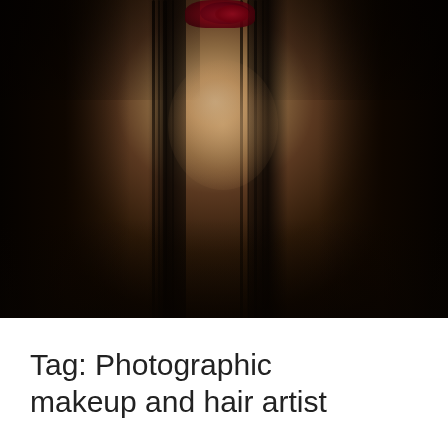[Figure (photo): A woman with dramatic gothic makeup including dark lipstick and smoky eyes, wearing a red rose crown/headpiece, looking through or behind a dark sheer black veil or fabric. The image has a dark, moody atmosphere with warm highlights on her face against a dark background.]
Tag: Photographic makeup and hair artist